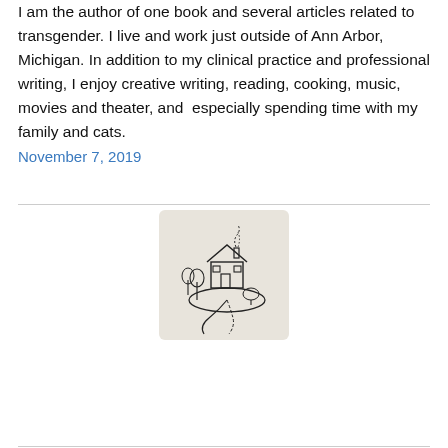I am the author of one book and several articles related to transgender. I live and work just outside of Ann Arbor, Michigan. In addition to my clinical practice and professional writing, I enjoy creative writing, reading, cooking, music, movies and theater, and  especially spending time with my family and cats.
November 7, 2019
[Figure (illustration): A small black and white illustration of a house on a hill with trees and a winding path, rendered in a sketchy/stamp style on a light beige background square.]